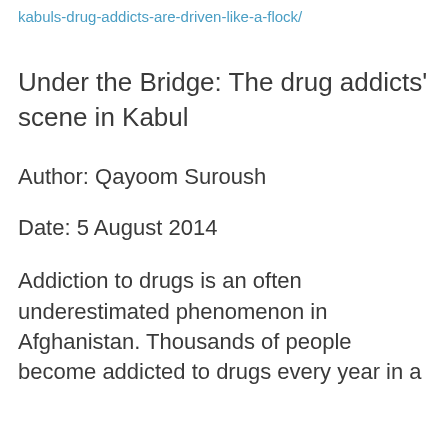kabuls-drug-addicts-are-driven-like-a-flock/
Under the Bridge: The drug addicts' scene in Kabul
Author: Qayoom Suroush
Date: 5 August 2014
Addiction to drugs is an often underestimated phenomenon in Afghanistan. Thousands of people become addicted to drugs every year in a